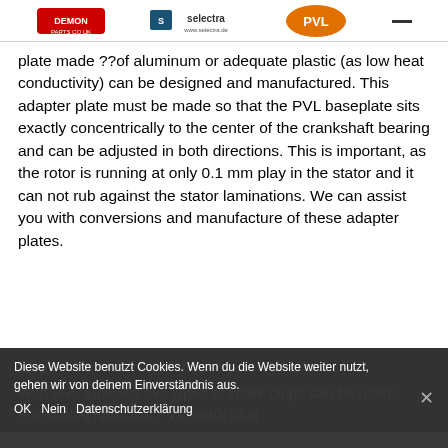[Logos: Demon, Selectra, PVL]
plate made ??of aluminum or adequate plastic (as low heat conductivity) can be designed and manufactured. This adapter plate must be made so that the PVL baseplate sits exactly concentrically to the center of the crankshaft bearing and can be adjusted in both directions. This is important, as the rotor is running at only 0.1 mm play in the stator and it can not rub against the stator laminations. We can assist you with conversions and manufacture of these adapter plates.
Hint
With PVL Ignitions two types of spark plugs can be used:
For analog ignitions: PVL spark plug